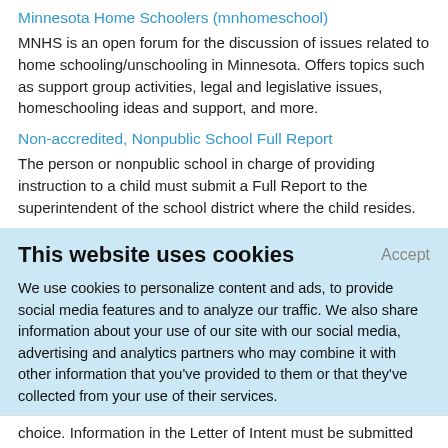Minnesota Home Schoolers (mnhomeschool)
MNHS is an open forum for the discussion of issues related to home schooling/unschooling in Minnesota. Offers topics such as support group activities, legal and legislative issues, homeschooling ideas and support, and more.
Non-accredited, Nonpublic School Full Report
The person or nonpublic school in charge of providing instruction to a child must submit a Full Report to the superintendent of the school district where the child resides.
This website uses cookies
We use cookies to personalize content and ads, to provide social media features and to analyze our traffic. We also share information about your use of our site with our social media, advertising and analytics partners who may combine it with other information that you've provided to them or that they've collected from your use of their services.
Learn More.
choice. Information in the Letter of Intent must be submitted